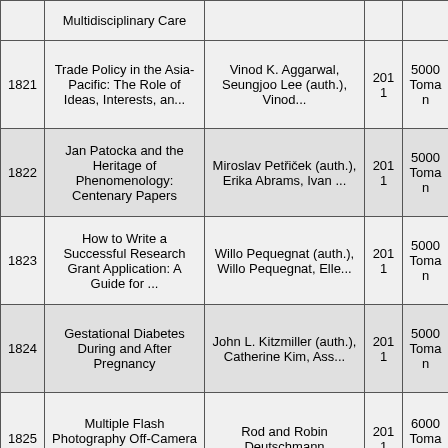| ID | Title | Author | Year | Price |  |
| --- | --- | --- | --- | --- | --- |
|  | Multidisciplinary Care |  |  |  |  |
| 1821 | Trade Policy in the Asia-Pacific: The Role of Ideas, Interests, an... | Vinod K. Aggarwal, Seungjoo Lee (auth.), Vinod... | 2011 | 5000 Toman |  |
| 1822 | Jan Patocka and the Heritage of Phenomenology: Centenary Papers | Miroslav Petřiček (auth.), Erika Abrams, Ivan ... | 2011 | 5000 Toman |  |
| 1823 | How to Write a Successful Research Grant Application: A Guide for ... | Willo Pequegnat (auth.), Willo Pequegnat, Elle... | 2011 | 5000 Toman |  |
| 1824 | Gestational Diabetes During and After Pregnancy | John L. Kitzmiller (auth.), Catherine Kim, Ass... | 2011 | 5000 Toman |  |
| 1825 | Multiple Flash Photography Off-Camera Flash Techniques for... | Rod and Robin Deutschmann | 2011 | 6000 Toman |  |